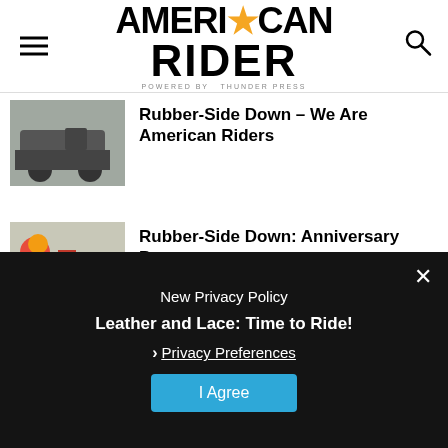AMERICAN RIDER powered by THUNDER PRESS
Rubber-Side Down – We Are American Riders
Rubber-Side Down: Anniversary Party
Rubber-Side Down, June 2021
New Privacy Policy
Leather and Lace: Time to Ride!
› Privacy Preferences
I Agree